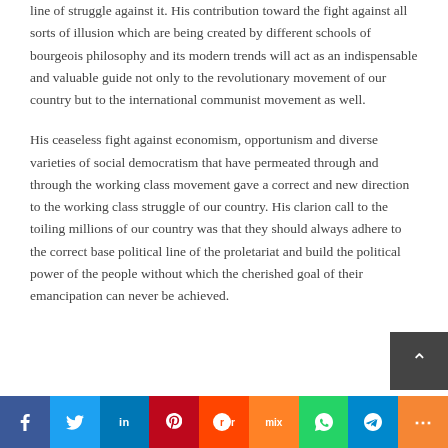line of struggle against it. His contribution toward the fight against all sorts of illusion which are being created by different schools of bourgeois philosophy and its modern trends will act as an indispensable and valuable guide not only to the revolutionary movement of our country but to the international communist movement as well.
His ceaseless fight against economism, opportunism and diverse varieties of social democratism that have permeated through and through the working class movement gave a correct and new direction to the working class struggle of our country. His clarion call to the toiling millions of our country was that they should always adhere to the correct base political line of the proletariat and build the political power of the people without which the cherished goal of their emancipation can never be achieved.